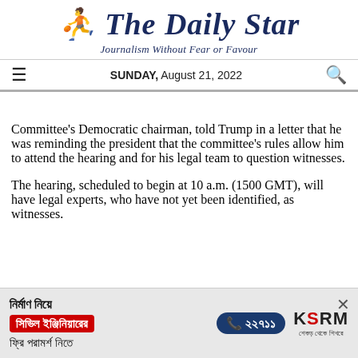The Daily Star
Journalism Without Fear or Favour
SUNDAY, August 21, 2022
Committee's Democratic chairman, told Trump in a letter that he was reminding the president that the committee's rules allow him to attend the hearing and for his legal team to question witnesses.
The hearing, scheduled to begin at 10 a.m. (1500 GMT), will have legal experts, who have not yet been identified, as witnesses.
[Figure (infographic): Advertisement banner for KSRM construction services in Bengali. Text includes: নির্মাণ নিয়ে (about construction), সিভিল ইঞ্জিনিয়ারের (civil engineer), ফ্রি পরামর্শ নিতে (free consultation), phone number ১৬৭৪১, and KSRM logo with tagline.]